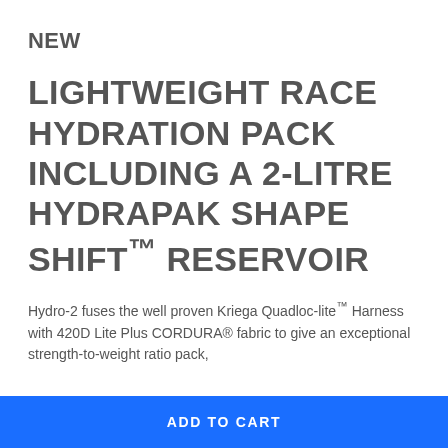NEW
LIGHTWEIGHT RACE HYDRATION PACK INCLUDING A 2-LITRE HYDRAPAK SHAPE SHIFT™ RESERVOIR
Hydro-2 fuses the well proven Kriega Quadloc-lite™ Harness with 420D Lite Plus CORDURA® fabric to give an exceptional strength-to-weight ratio pack,
ADD TO CART